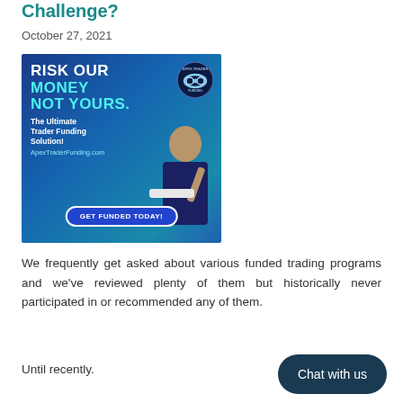Challenge?
October 27, 2021
[Figure (advertisement): Apex Trader Funding advertisement with blue gradient background. Large bold text reads 'RISK OUR MONEY NOT YOURS.' in white and cyan. Subtitle: 'The Ultimate Trader Funding Solution!' URL: ApexTraderFunding.com. Button: 'GET FUNDED TODAY!' Apex Trader Funding logo (circular with infinity symbol) in top right. Man in suit celebrating at laptop on right side.]
We frequently get asked about various funded trading programs and we've reviewed plenty of them but historically never participated in or recommended any of them.
Until recently.